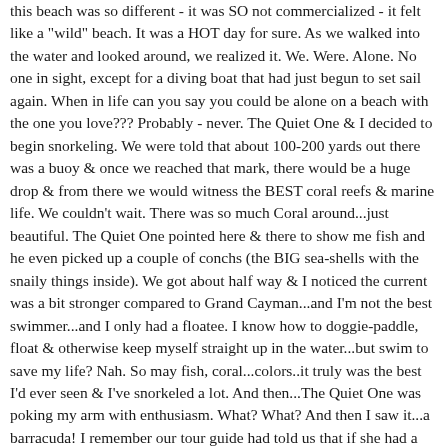this beach was so different - it was SO not commercialized - it felt like a "wild" beach. It was a HOT day for sure. As we walked into the water and looked around, we realized it. We. Were. Alone. No one in sight, except for a diving boat that had just begun to set sail again. When in life can you say you could be alone on a beach with the one you love??? Probably - never. The Quiet One & I decided to begin snorkeling. We were told that about 100-200 yards out there was a buoy & once we reached that mark, there would be a huge drop & from there we would witness the BEST coral reefs & marine life. We couldn't wait. There was so much Coral around...just beautiful. The Quiet One pointed here & there to show me fish and he even picked up a couple of conchs (the BIG sea-shells with the snaily things inside). We got about half way & I noticed the current was a bit stronger compared to Grand Cayman...and I'm not the best swimmer...and I only had a floatee. I know how to doggie-paddle, float & otherwise keep myself straight up in the water...but swim to save my life? Nah. So may fish, coral...colors..it truly was the best I'd ever seen & I've snorkeled a lot. And then...The Quiet One was poking my arm with enthusiasm. What? What? And then I saw it...a barracuda! I remember our tour guide had told us that if she had a choice to swim with a shark or barracuda, she would pick the shark every